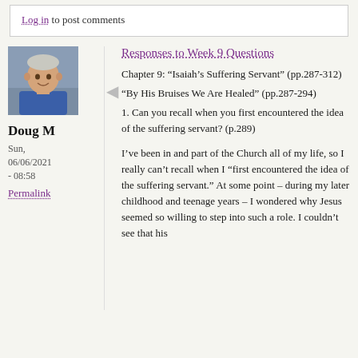Log in to post comments
[Figure (photo): Profile photo of Doug M, a middle-aged man in a blue shirt]
Doug M
Sun, 06/06/2021 - 08:58
Permalink
Responses to Week 9 Questions
Chapter 9: “Isaiah’s Suffering Servant” (pp.287-312)
“By His Bruises We Are Healed” (pp.287-294)
1. Can you recall when you first encountered the idea of the suffering servant? (p.289)

I’ve been in and part of the Church all of my life, so I really can’t recall when I “first encountered the idea of the suffering servant.” At some point – during my later childhood and teenage years – I wondered why Jesus seemed so willing to step into such a role. I couldn’t see that his